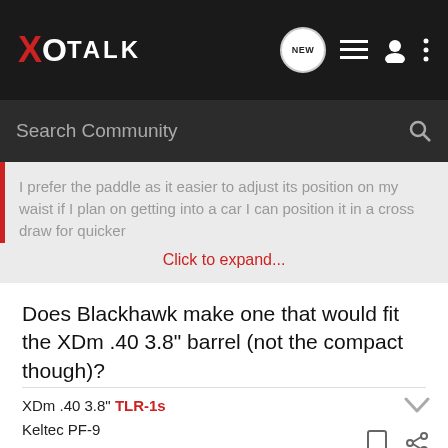XO TALK
Search Community
I prefer the paddle as it easier to adjust its position on my waist if I plan on getting into a car I can position it in a cross draw for quicker
Click to expand...
Does Blackhawk make one that would fit the XDm .40 3.8" barrel (not the compact though)?
XDm .40 3.8" TLR-1s
Keltec PF-9